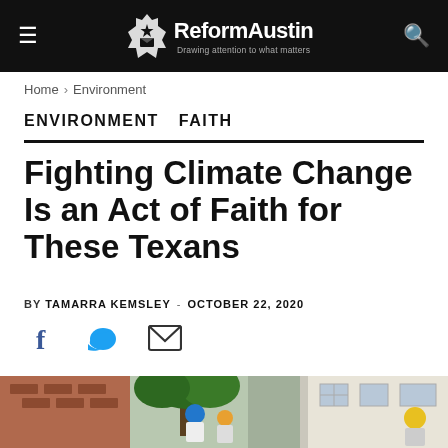ReformAustin — Drawing attention to what matters
Home › Environment
ENVIRONMENT   FAITH
Fighting Climate Change Is an Act of Faith for These Texans
BY TAMARRA KEMSLEY - OCTOBER 22, 2020
[Figure (other): Social sharing icons: Facebook, Twitter, Email]
[Figure (photo): People wearing helmets outdoors near palm trees and brick buildings, likely flood-related scene]